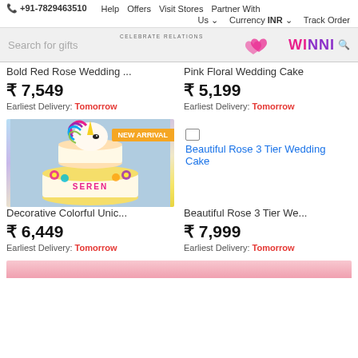+91-7829463510  Help  Offers  Visit Stores  Partner With Us  Currency INR  Track Order
[Figure (screenshot): Winni.in website search bar with logo and 'Search for gifts' placeholder text]
Bold Red Rose Wedding ...
₹ 7,549
Earliest Delivery: Tomorrow
Pink Floral Wedding Cake
₹ 5,199
Earliest Delivery: Tomorrow
[Figure (photo): Decorative colorful unicorn birthday cake with rainbow hair, flowers and name SEREN on it. NEW ARRIVAL badge shown.]
Decorative Colorful Unic...
₹ 6,449
Earliest Delivery: Tomorrow
[Figure (photo): Broken image link icon for Beautiful Rose 3 Tier Wedding Cake]
Beautiful Rose 3 Tier Wedding Cake
Beautiful Rose 3 Tier We...
₹ 7,999
Earliest Delivery: Tomorrow
[Figure (photo): Partial view of another cake product at bottom of page]